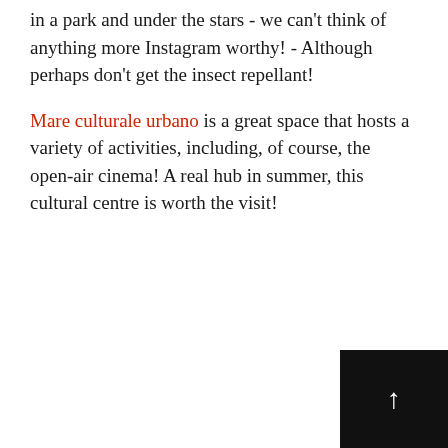in a park and under the stars - we can't think of anything more Instagram worthy! - Although perhaps don't get the insect repellant!
Mare culturale urbano is a great space that hosts a variety of activities, including, of course, the open-air cinema! A real hub in summer, this cultural centre is worth the visit!